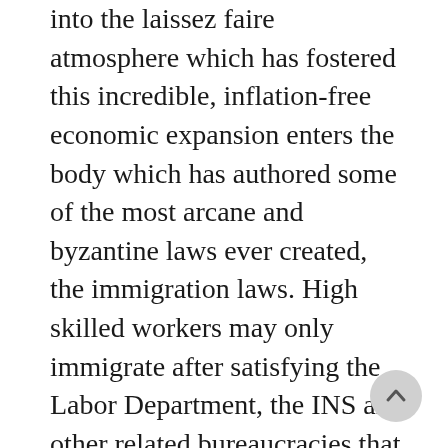into the laissez faire atmosphere which has fostered this incredible, inflation-free economic expansion enters the body which has authored some of the most arcane and byzantine laws ever created, the immigration laws. High skilled workers may only immigrate after satisfying the Labor Department, the INS and other related bureaucracies that they are not displacing American workers. And although our schools are not producing nearly enough professionals to work in the high tech and biotech sectors, the process that U.S. employers must undertake in applying for permanent residence for their foreign-born professional employees is expanding exponentially. Furthermore, professionals who are born in countries with high populations are subject to years of waiting to obtain green cards because of nonsensical country quotas.

Because of all these obstacles to permanent residence for